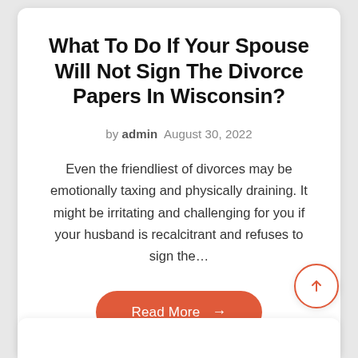What To Do If Your Spouse Will Not Sign The Divorce Papers In Wisconsin?
by admin  August 30, 2022
Even the friendliest of divorces may be emotionally taxing and physically draining. It might be irritating and challenging for you if your husband is recalcitrant and refuses to sign the…
Read More →